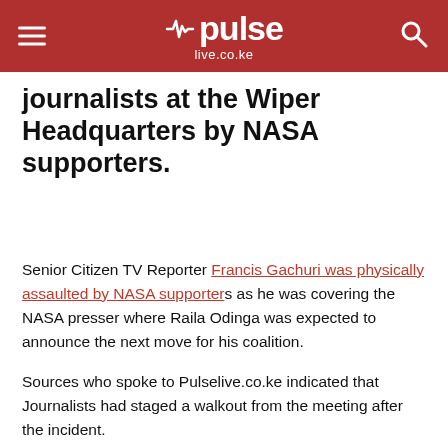pulse live.co.ke
journalists at the Wiper Headquarters by NASA supporters.
Senior Citizen TV Reporter Francis Gachuri was physically assaulted by NASA supporters as he was covering the NASA presser where Raila Odinga was expected to announce the next move for his coalition.
Sources who spoke to Pulselive.co.ke indicated that Journalists had staged a walkout from the meeting after the incident.